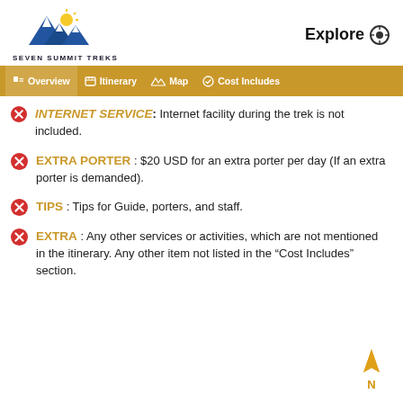[Figure (logo): Seven Summit Treks logo with mountain graphic and company name]
Explore
Overview | Itinerary | Map | Cost Includes
INTERNET SERVICE: Internet facility during the trek is not included.
EXTRA PORTER : $20 USD for an extra porter per day (If an extra porter is demanded).
TIPS : Tips for Guide, porters, and staff.
EXTRA : Any other services or activities, which are not mentioned in the itinerary. Any other item not listed in the “Cost Includes” section.